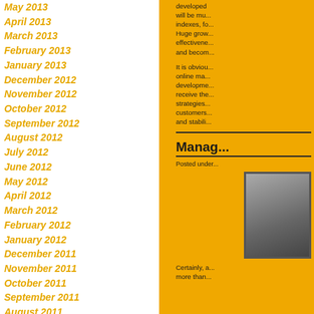May 2013
April 2013
March 2013
February 2013
January 2013
December 2012
November 2012
October 2012
September 2012
August 2012
July 2012
June 2012
May 2012
April 2012
March 2012
February 2012
January 2012
December 2011
November 2011
October 2011
September 2011
August 2011
July 2011
June 2011
May 2011
April 2011
March 2011
February 2011
January 2011
December 2010
November 2010
October 2010
developed ... will be mu... indexes, fo... Huge grow... effectivene... and becom...
It is obvio... online ma... developme... receive the... strategies... customers... and stabili...
Manag...
Posted under...
[Figure (photo): Photo of a person at a desk/computer]
Certainly, a... more than...